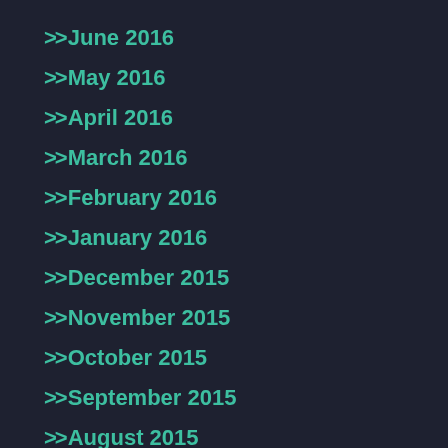>>June 2016
>>May 2016
>>April 2016
>>March 2016
>>February 2016
>>January 2016
>>December 2015
>>November 2015
>>October 2015
>>September 2015
>>August 2015
>>July 2015
>>June 2015
>>May 2015